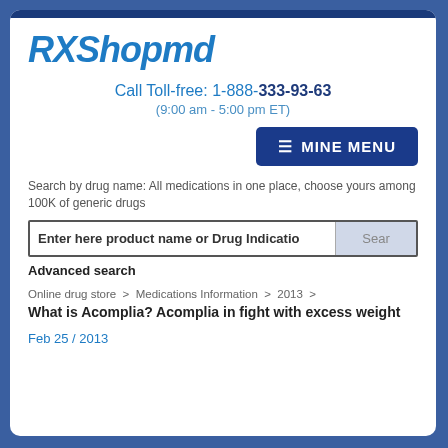[Figure (logo): RXShopmd logo in blue italic bold text]
Call Toll-free: 1-888-333-93-63
(9:00 am - 5:00 pm ET)
☰ MINE MENU
Search by drug name: All medications in one place, choose yours among 100K of generic drugs
Enter here product name or Drug Indication    Search
Advanced search
Online drug store > Medications Information > 2013 > What is Acomplia? Acomplia in fight with excess weight
Feb 25 / 2013